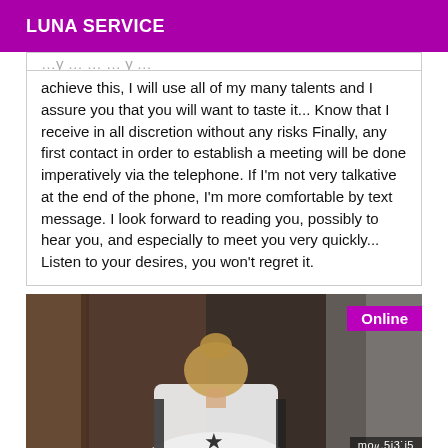LUNA SERVICE
achieve this, I will use all of my many talents and I assure you that you will want to taste it... Know that I receive in all discretion without any risks Finally, any first contact in order to establish a meeting will be done imperatively via the telephone. If I'm not very talkative at the end of the phone, I'm more comfortable by text message. I look forward to reading you, possibly to hear you, and especially to meet you very quickly... Listen to your desires, you won't regret it.
[Figure (photo): A person with blonde hair in a bun, wearing a white and black top, photographed from behind in a dark setting. An 'Online' badge appears in the top right corner, and a partially visible watermark 'mod.5i30i5' is shown.]